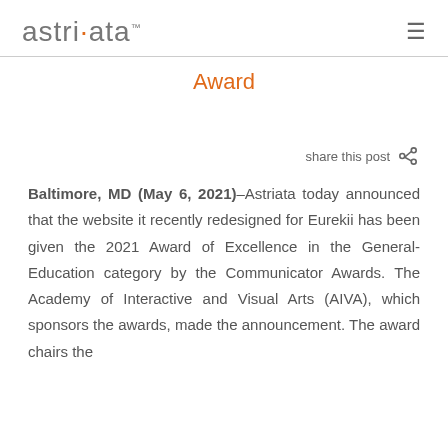astriata
Award
share this post
Baltimore, MD (May 6, 2021)–Astriata today announced that the website it recently redesigned for Eurekii has been given the 2021 Award of Excellence in the General-Education category by the Communicator Awards. The Academy of Interactive and Visual Arts (AIVA), which sponsors the awards, made the announcement. The award chairs the